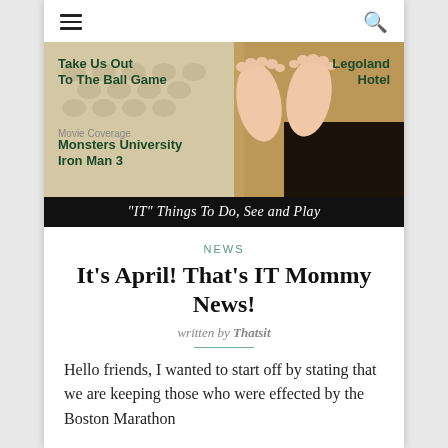[Figure (screenshot): Website header with hamburger menu icon on left and search icon on right]
[Figure (photo): Banner image showing baby feet on a patterned blanket/pillow, with overlaid text: 'Take Us Out To The Ball Game', 'Legoland Hotel', 'Movie Coverage', 'Monsters University', 'Iron Man 3'. Black footer bar reads: "IT" Things To Do, See and Play]
NEWS
It's April! That's IT Mommy News!
written by Thatsit
Hello friends, I wanted to start off by stating that we are keeping those who were effected by the Boston Marathon